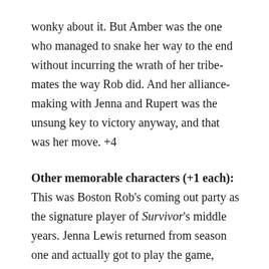wonky about it. But Amber was the one who managed to snake her way to the end without incurring the wrath of her tribe-mates the way Rob did. And her alliance-making with Jenna and Rupert was the unsung key to victory anyway, and that was her move. +4
Other memorable characters (+1 each): This was Boston Rob's coming out party as the signature player of Survivor's middle years. Jenna Lewis returned from season one and actually got to play the game, which was fun to see. +2
Insufferables (-1 each): Just an unprecedented run